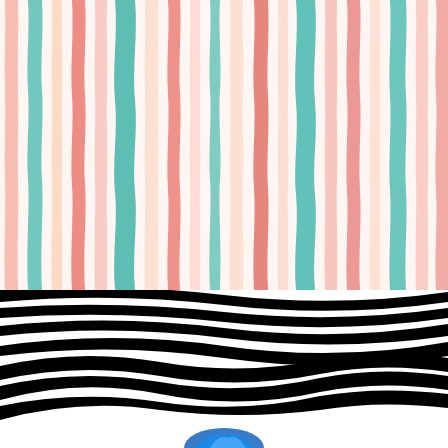[Figure (illustration): Top section: vertical wavy stripes pattern in pastel colors — coral/salmon, teal/green, peach/orange on white background. The stripes are hand-drawn style, slightly irregular, running top to bottom.]
[Figure (illustration): Middle/large section: optical illusion pattern of wavy undulating horizontal black and white stripes creating a 3D ripple effect on white background.]
[Figure (illustration): Bottom section (partially visible): blue and white abstract shape, possibly a bird or ribbon, partially cropped.]